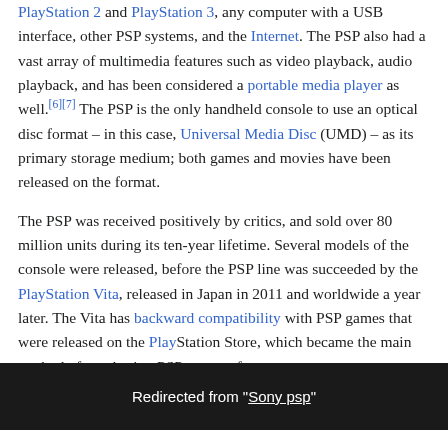PlayStation 2 and PlayStation 3, any computer with a USB interface, other PSP systems, and the Internet. The PSP also had a vast array of multimedia features such as video playback, audio playback, and has been considered a portable media player as well.[6][7] The PSP is the only handheld console to use an optical disc format – in this case, Universal Media Disc (UMD) – as its primary storage medium; both games and movies have been released on the format.
The PSP was received positively by critics, and sold over 80 million units during its ten-year lifetime. Several models of the console were released, before the PSP line was succeeded by the PlayStation Vita, released in Japan in 2011 and worldwide a year later. The Vita has backward compatibility with PSP games that were released on the PlayStation Store, which became the main method of purchasing PSP games after
Redirected from "Sony psp"